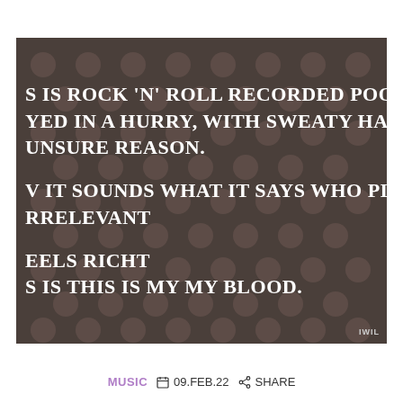[Figure (photo): Dark brown background with polka dot pattern containing bold white uppercase text: partial lyrics/quote reading 'S IS ROCK 'N' ROLL RECORDED POORLY, YED IN A HURRY, WITH SWEATY HANDS UNSURE REASON. V IT SOUNDS WHAT IT SAYS WHO PLAYED V RRELEVANT EELS RICHT S IS THIS IS MY MY BLOOD.' with attribution IWIL in bottom right corner.]
MUSIC  09.FEB.22  SHARE